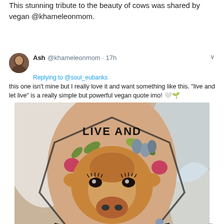This stunning tribute to the beauty of cows was shared by vegan @khameleonmom.
[Figure (screenshot): A tweet by Ash @khameleonmom from 17h ago, replying to @soul_eubanks. The tweet reads: 'this one isn't mine but I really love it and want something like this. "live and let live" is a really simple but powerful vegan quote imo! 🤍🌱'. Below the tweet text is a photo of a tattoo on a forearm depicting a cow's face surrounded by flowers and leaves, with the text 'LIVE AND LET LIVE.' written in bold lettering around it in a hexagonal banner design.]